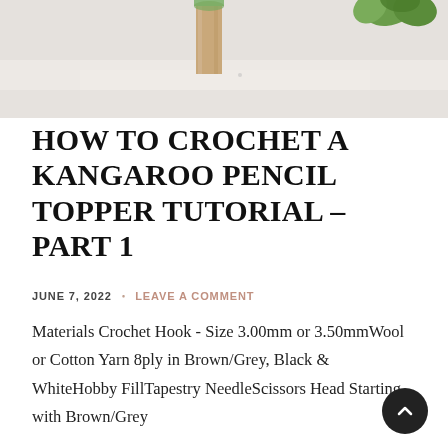[Figure (photo): Partial view of a photo showing what appears to be a pencil or craft tool with a wooden/tan handle at center, and green foliage/plant in upper right corner, on a light grey/white background]
HOW TO CROCHET A KANGAROO PENCIL TOPPER TUTORIAL – PART 1
JUNE 7, 2022 • LEAVE A COMMENT
Materials Crochet Hook - Size 3.00mm or 3.50mmWool or Cotton Yarn 8ply in Brown/Grey, Black & WhiteHobby FillTapestry NeedleScissors Head Starting with Brown/Grey